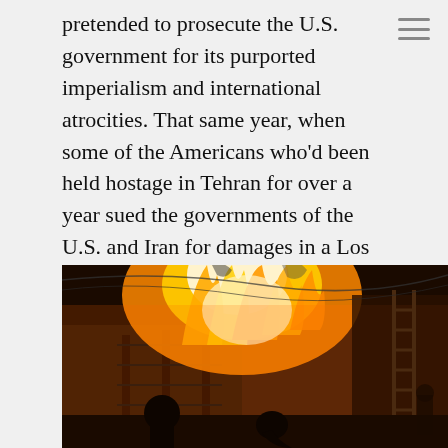pretended to prosecute the U.S. government for its purported imperialism and international atrocities. That same year, when some of the Americans who'd been held hostage in Tehran for over a year sued the governments of the U.S. and Iran for damages in a Los Angeles court, Dix and a group of his followers were outside the courthouse accusing the hostages of war crimes.
[Figure (photo): Nighttime photograph of a building engulfed in large flames and fire, with silhouettes of people in the foreground and a ladder visible on the right side.]